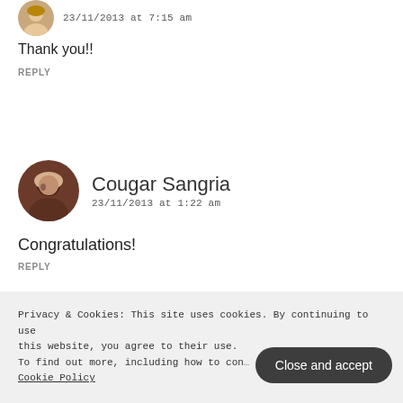23/11/2013 at 7:15 am
Thank you!!
REPLY
Cougar Sangria
23/11/2013 at 1:22 am
Congratulations!
REPLY
Privacy & Cookies: This site uses cookies. By continuing to use this website, you agree to their use. To find out more, including how to con… Cookie Policy
Close and accept